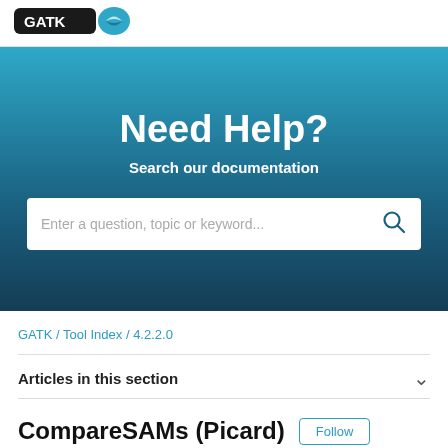[Figure (logo): GATK logo with blue swoosh icon on white header bar]
Need Help?
Search our documentation
Enter a question, topic or keyword...
GATK / Tool Index / 4.2.2.0
Articles in this section
CompareSAMs (Picard)